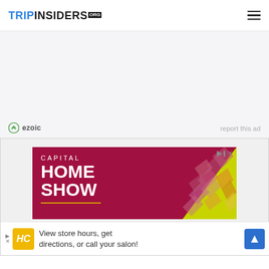TRIPINSIDERS.ORG
[Figure (infographic): Ezoic ad placeholder area with light gray background, ezoic logo bottom left, 'report this ad' text bottom right]
[Figure (infographic): Capital Home Show advertisement banner with dark red/maroon background, geometric yellow-green and pink mosaic pattern on right side, white text reading CAPITAL HOME SHOW]
[Figure (infographic): Bottom advertisement banner: HC logo in yellow box, text 'View store hours, get directions, or call your salon!', blue diamond arrow button on right]